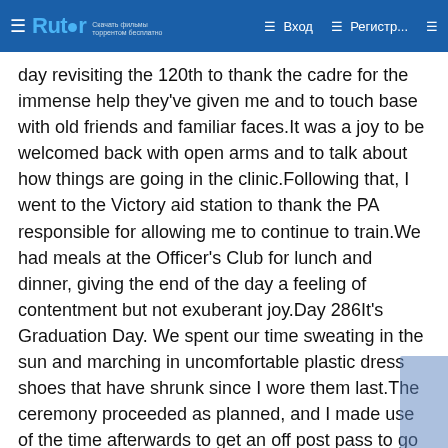Rutor — Вход — Регистр...
day revisiting the 120th to thank the cadre for the immense help they've given me and to touch base with old friends and familiar faces.It was a joy to be welcomed back with open arms and to talk about how things are going in the clinic.Following that, I went to the Victory aid station to thank the PA responsible for allowing me to continue to train.We had meals at the Officer's Club for lunch and dinner, giving the end of the day a feeling of contentment but not exuberant joy.Day 286It's Graduation Day. We spent our time sweating in the sun and marching in uncomfortable plastic dress shoes that have shrunk since I wore them last.The ceremony proceeded as planned, and I made use of the time afterwards to get an off post pass to go out and enjoy a late lunch/early dinner.After returning to the company, we were kept up late into the night to clean and pack our bags.Day 287The day comes as an extension of the last. We changed our uniforms, took our bags, and turned in all the linen. The show is over and the theatre itself shut down.I was taken by bus to the same airport I've flown from before. The entire feeling of going full circle brought a surreal air to our time spent waiting. This